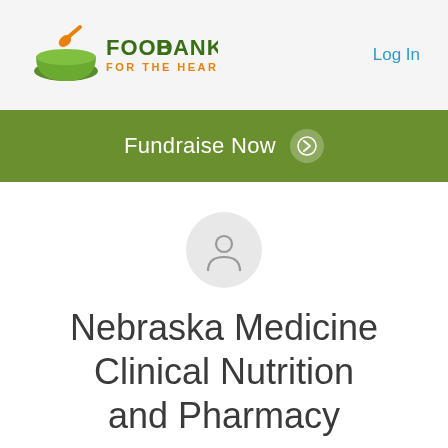[Figure (logo): Food Bank for the Heartland logo — green bowl with orange spoon and green/orange wordmark]
Log In
Fundraise Now →
[Figure (illustration): Generic user/person avatar icon in a light grey circle]
Nebraska Medicine Clinical Nutrition and Pharmacy